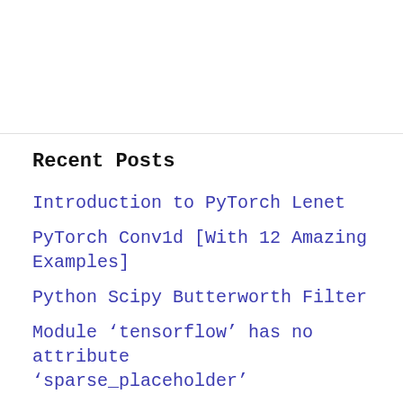Recent Posts
Introduction to PyTorch Lenet
PyTorch Conv1d [With 12 Amazing Examples]
Python Scipy Butterworth Filter
Module ‘tensorflow’ has no attribute ‘sparse_placeholder’
Module ‘tensorflow’ has no attribute ‘div’